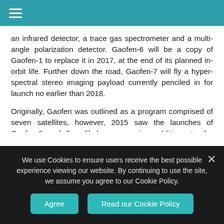an infrared detector, a trace gas spectrometer and a multi-angle polarization detector. Gaofen-6 will be a copy of Gaofen-1 to replace it in 2017, at the end of its planned in-orbit life. Further down the road, Gaofen-7 will fly a hyperspectral stereo imaging payload currently penciled in for launch no earlier than 2018.
Originally, Gaofen was outlined as a program comprised of seven satellites, however, 2015 saw the launches of Gaofen-8 and 9 – likely representing additions to the original constellation in what is a suspected merger of military and civilian programs. The two additional satellites likely originate
We use Cookies to ensure users receive the best possible experience viewing our website. By continuing to use the site, we assume you agree to our Cookie Policy.